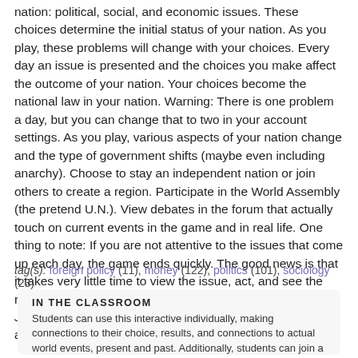nation: political, social, and economic issues. These choices determine the initial status of your nation. As you play, these problems will change with your choices. Every day an issue is presented and the choices you make affect the outcome of your nation. Your choices become the national law in your nation. Warning: There is one problem a day, but you can change that to two in your account settings. As you play, various aspects of your nation change and the type of government shifts (maybe even including anarchy). Choose to stay an independent nation or join others to create a region. Participate in the World Assembly (the pretend U.N.). View debates in the forum that actually touch on current events in the game and in real life. One thing to note: If you are not attentive to the issues that come up each day, the game ends quickly. The good news is that it takes very little time to view the issue, act, and see the result. Note: This interactive is loosely based on the novel Jennifer Government by Max Barry. This site includes advertising.
tag(s): foreign policy (11), money (122), politics (101), sociology (23)
IN THE CLASSROOM
Students can use this interactive individually, making connections to their choice, results, and connections to actual world events, present and past. Additionally, students can join a region and see how their decisions affect other nations. A great lesson is to allow students to run their nation according to their political views and see the results as they unfold through play. Be sure to treat this seriously as the